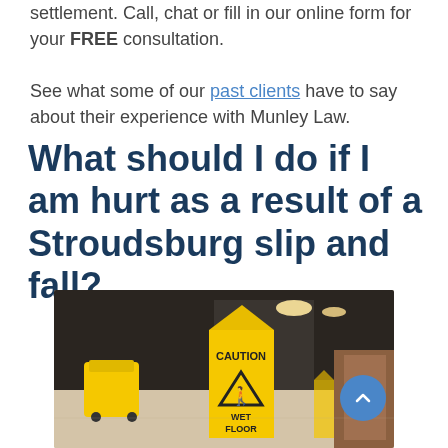settlement. Call, chat or fill in our online form for your FREE consultation.

See what some of our past clients have to say about their experience with Munley Law.
What should I do if I am hurt as a result of a Stroudsburg slip and fall?
[Figure (photo): A yellow caution wet floor sign in an indoor lobby/hallway setting, with a yellow mop bucket visible in the background. The sign reads CAUTION with a slip hazard symbol and WET FLOOR at the bottom.]